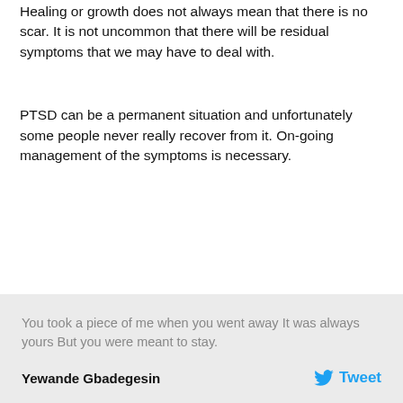Healing or growth does not always mean that there is no scar. It is not uncommon that there will be residual symptoms that we may have to deal with.
PTSD can be a permanent situation and unfortunately some people never really recover from it. On-going management of the symptoms is necessary.
You took a piece of me when you went away It was always yours But you were meant to stay.
Yewande Gbadegesin
Tweet